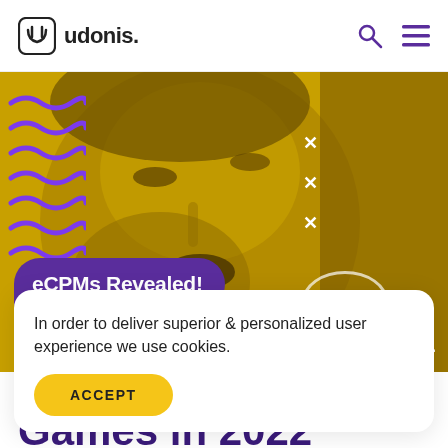udonis.
[Figure (photo): Yellow-tinted photo of a woman touching her face with wavy purple decorative lines on the left, white cross decorations, an oval outline, and a purple pill-shaped label reading 'eCPMs Revealed!' with the Udonis logo watermark bottom right.]
In order to deliver superior & personalized user experience we use cookies.
ACCEPT
Games in 2022